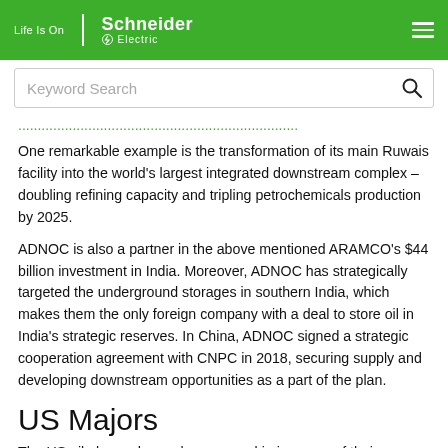Life Is On | Schneider Electric
Keyword Search
One remarkable example is the transformation of its main Ruwais facility into the world's largest integrated downstream complex – doubling refining capacity and tripling petrochemicals production by 2025.
ADNOC is also a partner in the above mentioned ARAMCO's $44 billion investment in India. Moreover, ADNOC has strategically targeted the underground storages in southern India, which makes them the only foreign company with a deal to store oil in India's strategic reserves. In China, ADNOC signed a strategic cooperation agreement with CNPC in 2018, securing supply and developing downstream opportunities as a part of the plan.
US Majors
The US oil players have also engaged in increase of their downstream exposure, particularly along the Gulf Coast, where refiners are taking advantage of shale output from Texas...